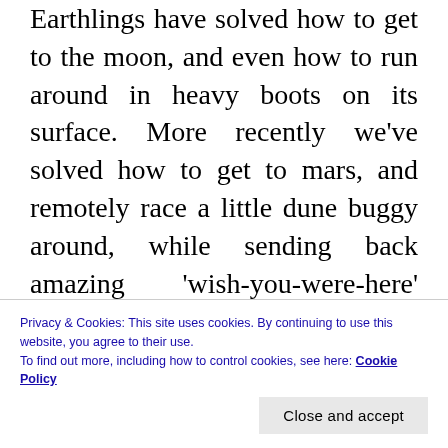Earthlings have solved how to get to the moon, and even how to run around in heavy boots on its surface. More recently we've solved how to get to mars, and remotely race a little dune buggy around, while sending back amazing 'wish-you-were-here' snapshots (does the rover tweet them, or does it use old-fashioned email?). Oh....and I've just remembered another baffling mystery .... how on earth did Beatrice think that the hat (satellite dish) she wore at the Royal Wedding was either attractive or tasteful? Or what
Privacy & Cookies: This site uses cookies. By continuing to use this website, you agree to their use.
To find out more, including how to control cookies, see here: Cookie Policy